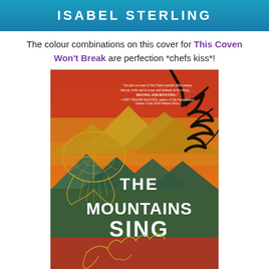ISABEL STERLING
The colour combinations on this cover for This Coven Won't Break are perfection *chefs kiss*!
[Figure (illustration): Book cover of 'The Mountains Sing' showing layered mountain landscape in red, orange, gold and green tones with a decorative gold fish/butterfly motif on the left and bare dark tree branches on the right. White text reads 'THE MOUNTAINS SING'. A pull quote is visible in the upper right corner.]